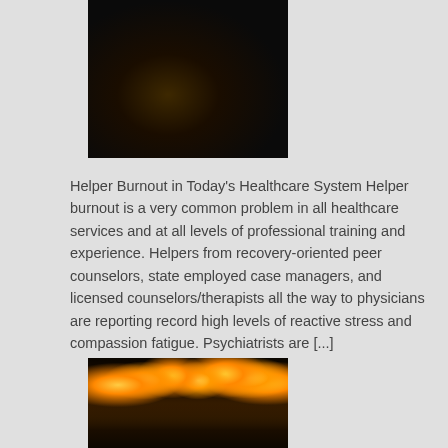[Figure (photo): Close-up photo of burnt matches with charred black heads on a dark background]
Helper Burnout in Today's Healthcare System Helper burnout is a very common problem in all healthcare services and at all levels of professional training and experience. Helpers from recovery-oriented peer counselors, state employed case managers, and licensed counselors/therapists all the way to physicians are reporting record high levels of reactive stress and compassion fatigue. Psychiatrists are [...]
[Figure (photo): Photo of many lit yellow candles with warm glowing flames against a dark background]